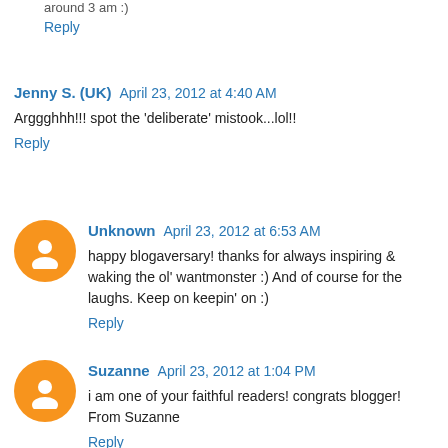around 3 am :)
Reply
Jenny S. (UK)  April 23, 2012 at 4:40 AM
Arggghhh!!! spot the 'deliberate' mistook...lol!!
Reply
Unknown  April 23, 2012 at 6:53 AM
happy blogaversary! thanks for always inspiring & waking the ol' wantmonster :) And of course for the laughs. Keep on keepin' on :)
Reply
Suzanne  April 23, 2012 at 1:04 PM
i am one of your faithful readers! congrats blogger! From Suzanne
Reply